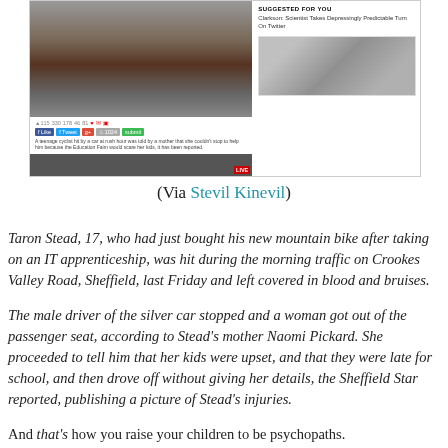[Figure (screenshot): Screenshot of a news article webpage showing a video thumbnail of a person and a 'Suggested For You' sidebar with a link and a photo of a man with glasses]
(Via Stevil Kinevil)
Taron Stead, 17, who had just bought his new mountain bike after taking on an IT apprenticeship, was hit during the morning traffic on Crookes Valley Road, Sheffield, last Friday and left covered in blood and bruises.
The male driver of the silver car stopped and a woman got out of the passenger seat, according to Stead's mother Naomi Pickard. She proceeded to tell him that her kids were upset, and that they were late for school, and then drove off without giving her details, the Sheffield Star reported, publishing a picture of Stead's injuries.
And that's how you raise your children to be psychopaths.
Penultimately, I recently received an email from the inventor